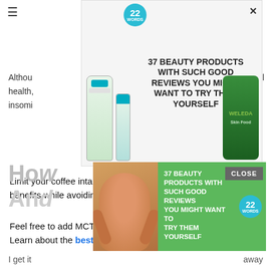[Figure (screenshot): Top advertisement banner: 37 Beauty Products With Such Good Reviews You Might Want To Try Them Yourself, showing Cetaphil and Weleda products, with 22 Words badge]
Although ... all health, ... insom...
Limit your coffee intake to a cup or two a day to maximize the benefits while avoiding the risks.
Feel free to add MCT oil to your coffee to keep it keto-friendly! Learn about the best MCT oil for keto dieters now!
Don't Miss: How Much Sugar Does Vanilla Ice Cream Have
How... And...
[Figure (screenshot): Bottom advertisement overlay: 37 Beauty Products With Such Good Reviews You Might Want To Try Them Yourself, green background with woman's face, 22 Words badge, CLOSE button]
I get it ... away